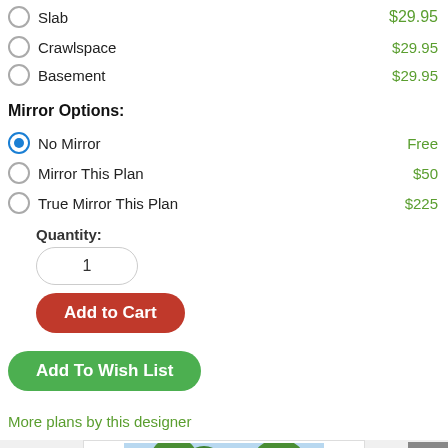Slab  $29.95
Crawlspace  $29.95
Basement  $29.95
Mirror Options:
No Mirror  Free
Mirror This Plan  $50
True Mirror This Plan  $225
Quantity:
1
Add to Cart
Add To Wish List
More plans by this designer
[Figure (photo): House with trees in background]